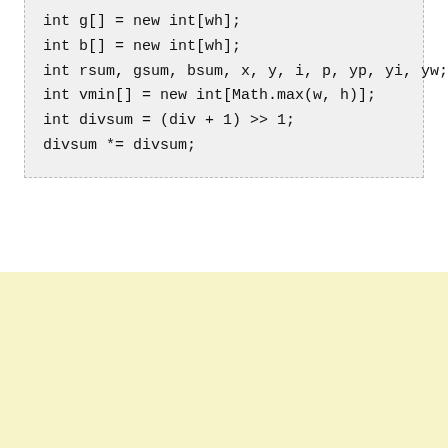int g[] = new int[wh];
int b[] = new int[wh];
int rsum, gsum, bsum, x, y, i, p, yp, yi, yw;
int vmin[] = new int[Math.max(w, h)];
int divsum = (div + 1) >> 1;
divsum *= divsum;
[Figure (other): Yellow/cream colored blank panel filling the bottom portion of the page]